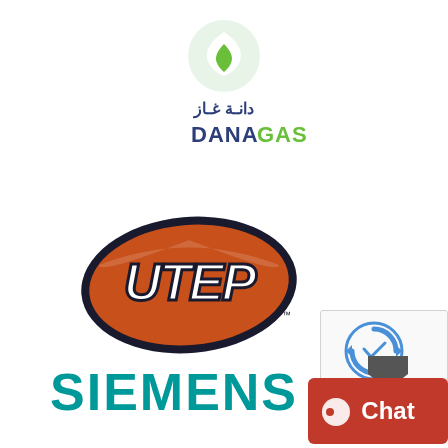[Figure (logo): Dana Gas company logo: green flame/leaf icon above Arabic text and DANAGAS wordmark in dark blue and green]
[Figure (logo): UTEP Miners athletics logo: stylized UTEP letters in orange and navy blue with football-shape outline]
[Figure (logo): Siemens logo: bold teal/green SIEMENS wordmark]
[Figure (other): Google reCAPTCHA widget with recycling icon and Privacy/Terms links]
[Figure (other): Red chat button with chat bubble icon and 'Chat' text]